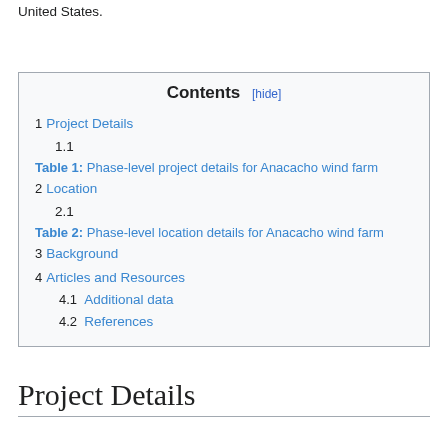United States.
| 1 | Project Details |
| 1.1 |  |
| Table 1: | Phase-level project details for Anacacho wind farm |
| 2 | Location |
| 2.1 |  |
| Table 2: | Phase-level location details for Anacacho wind farm |
| 3 | Background |
| 4 | Articles and Resources |
| 4.1 | Additional data |
| 4.2 | References |
Project Details
Anacacho wind farm details...